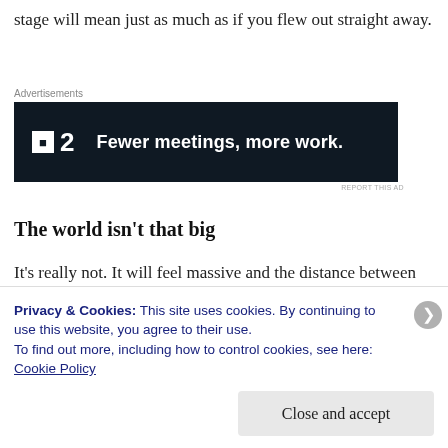stage will mean just as much as if you flew out straight away.
[Figure (screenshot): Advertisement banner for F2 app: dark background with F2 logo and text 'Fewer meetings, more work.']
The world isn't that big
It's really not. It will feel massive and the distance between you and home will feel like it will take an eternity to get back. For most places, it will take no more than 2 days to get back. If you are able to get
Privacy & Cookies: This site uses cookies. By continuing to use this website, you agree to their use.
To find out more, including how to control cookies, see here: Cookie Policy